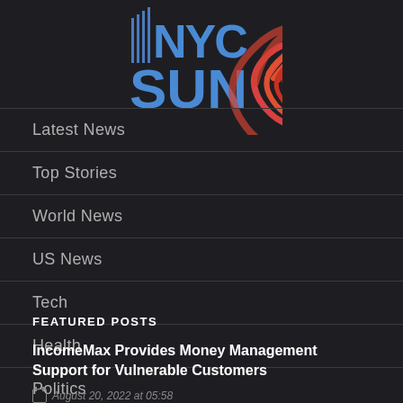[Figure (logo): NYC Sun newspaper logo with blue text and red spiral graphic]
Latest News
Top Stories
World News
US News
Tech
Health
Politics
FEATURED POSTS
IncomeMax Provides Money Management Support for Vulnerable Customers
August 20, 2022 at 05:58